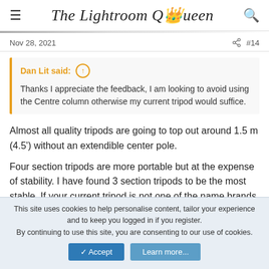The Lightroom Queen
Nov 28, 2021  #14
Dan Lit said: ↑
Thanks I appreciate the feedback, I am looking to avoid using the Centre column otherwise my current tripod would suffice.
Almost all quality tripods are going to top out around 1.5 m (4.5') without an extendible center pole.
Four section tripods are more portable but at the expense of stability. I have found 3 section tripods to be the most stable. If your current tripod is not one of the name brands listed previously, then you are
This site uses cookies to help personalise content, tailor your experience and to keep you logged in if you register.
By continuing to use this site, you are consenting to our use of cookies.